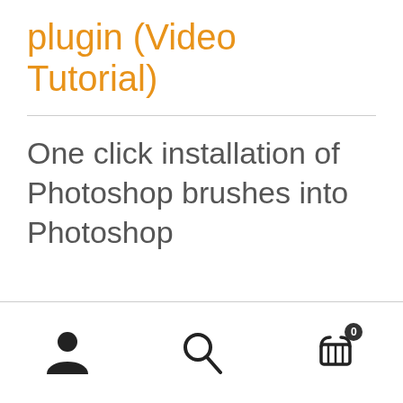plugin (Video Tutorial)
One click installation of Photoshop brushes into Photoshop
Navigation bar with user icon, search icon, and cart icon with badge 0